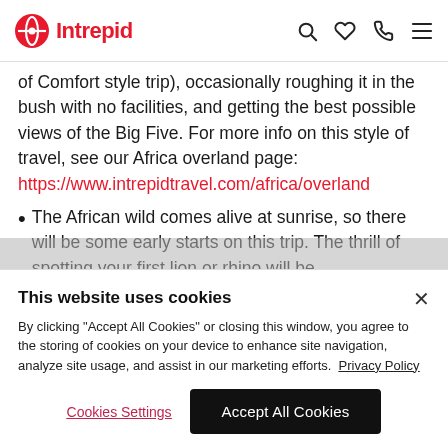Intrepid
of Comfort style trip), occasionally roughing it in the bush with no facilities, and getting the best possible views of the Big Five. For more info on this style of travel, see our Africa overland page: https://www.intrepidtravel.com/africa/overland
The African wild comes alive at sunrise, so there will be some early starts on this trip. The thrill of spotting your first lion or rhino will be
This website uses cookies
By clicking "Accept All Cookies" or closing this window, you agree to the storing of cookies on your device to enhance site navigation, analyze site usage, and assist in our marketing efforts. Privacy Policy
Cookies Settings Accept All Cookies